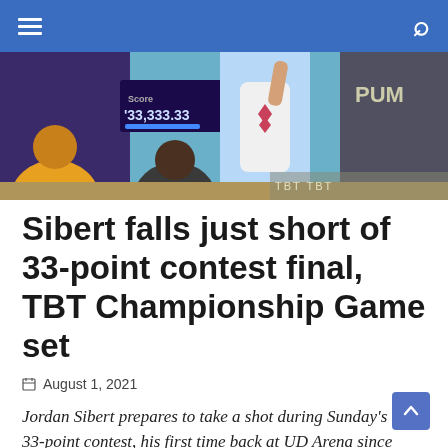Navigation bar with menu and search icons
[Figure (photo): Basketball player in white jersey preparing to take a shot during TBT 33-point contest, with spectators and PUMA branding visible in background. Score display showing '33,333.33' visible on left side.]
Sibert falls just short of 33-point contest final, TBT Championship Game set
August 1, 2021
Jordan Sibert prepares to take a shot during Sunday's TBT 33-point contest, his first time back at UD Arena since 2015. Photo courtesy of Ben Solomon, TBT.